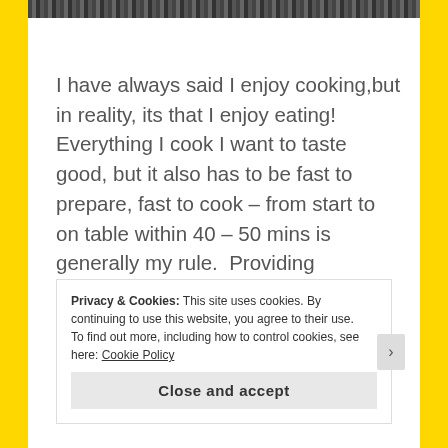[Figure (photo): Top portion of a photograph, cropped, showing a dark textured image strip at the top of the page]
I have always said I enjoy cooking,but in reality, its that I enjoy eating!  Everything I cook I want to taste good, but it also has to be fast to prepare, fast to cook – from start to on table within 40 – 50 mins is generally my rule.  Providing balanced family meals is not the easiest in my house.  Jess thinks a vegetable is swear word, Natalie deffo takes after
Privacy & Cookies: This site uses cookies. By continuing to use this website, you agree to their use.
To find out more, including how to control cookies, see here: Cookie Policy
Close and accept